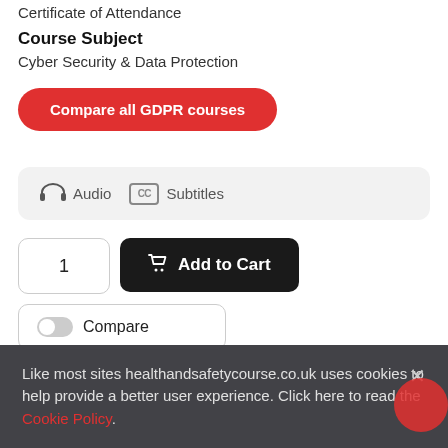Certificate of Attendance
Course Subject
Cyber Security & Data Protection
Compare all GDPR courses
Audio  Subtitles
1
Add to Cart
Compare
Like most sites healthandsafetycourse.co.uk uses cookies to help provide a better user experience. Click here to read the Cookie Policy.